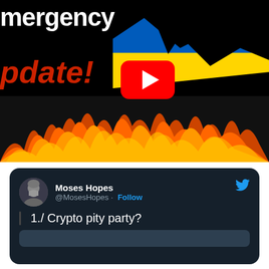[Figure (screenshot): YouTube video thumbnail showing text 'emergency update!' in white and red bold font on a black background, with the Ukraine flag (blue and yellow) visible on the right side, flames at the bottom, and a YouTube play button in the center.]
[Figure (screenshot): Twitter/X post screenshot on dark background. User 'Moses Hopes' @MosesHopes with a Follow button. Tweet text: '1./ Crypto pity party?' with a partial image preview below. Twitter bird logo visible top right.]